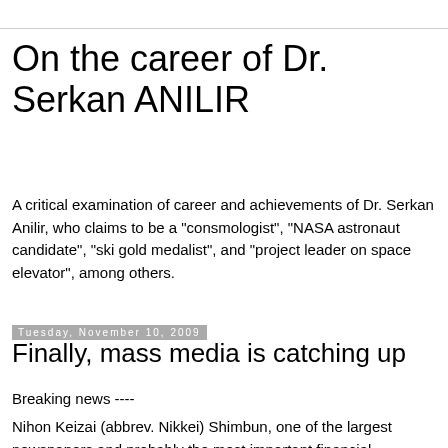On the career of Dr. Serkan ANILIR
A critical examination of career and achievements of Dr. Serkan Anilir, who claims to be a "consmologist", "NASA astronaut candidate", "ski gold medalist", and "project leader on space elevator", among others.
Tuesday, November 10, 2009
Finally, mass media is catching up
Breaking news ----
Nihon Keizai (abbrev. Nikkei) Shimbun, one of the largest newspapers and probably the most important financial newspaper in Japan, reported problems of "Assistant Professors of the University of Tokyo". The web article is here (in Japanese). In the printed evening issue of